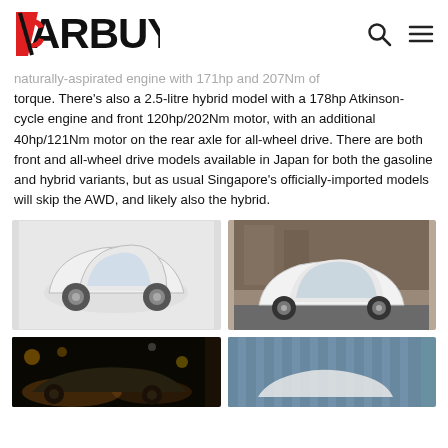CARBUYER
naturally-aspirated engine with 171hp and 207Nm of torque. There's also a 2.5-litre hybrid model with a 178hp Atkinson-cycle engine and front 120hp/202Nm motor, with an additional 40hp/121Nm motor on the rear axle for all-wheel drive. There are both front and all-wheel drive models available in Japan for both the gasoline and hybrid variants, but as usual Singapore's officially-imported models will skip the AWD, and likely also the hybrid.
[Figure (photo): White Toyota Venza/Harrier SUV side profile on white background]
[Figure (photo): White Toyota SUV side profile parked on urban street]
[Figure (photo): Dark night-time shot of Toyota SUV in motion with bokeh lights]
[Figure (photo): Toyota SUV against glass building facade]